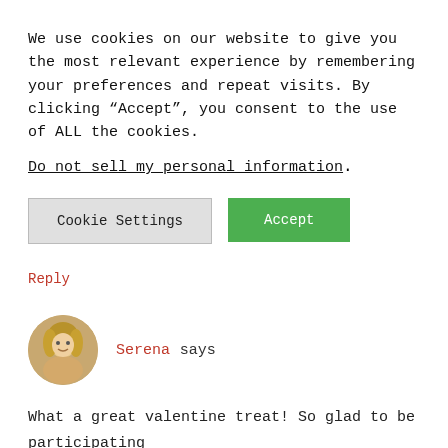We use cookies on our website to give you the most relevant experience by remembering your preferences and repeat visits. By clicking “Accept”, you consent to the use of ALL the cookies.
Do not sell my personal information.
Cookie Settings
Accept
Valentine’s Day.
Reply
[Figure (photo): Circular avatar photo of Serena, a blonde woman]
Serena says
What a great valentine treat! So glad to be participating with such a great group of bloggers for this event 😊
Reply